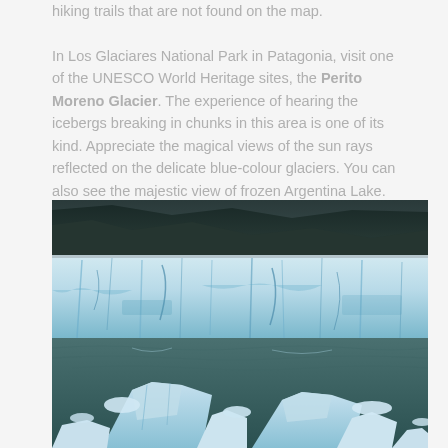hiking trails that are not found on the map.

In Los Glaciares National Park in Patagonia, visit one of the UNESCO World Heritage sites, the Perito Moreno Glacier. The experience of hearing the icebergs breaking in chunks in this area is one of its kind. Appreciate the magical views of the sun rays reflected on the delicate blue-colour glaciers. You can also see the majestic view of frozen Argentina Lake.
[Figure (photo): Photograph of the Perito Moreno Glacier showing a massive wall of blue-white ice with floating icebergs in the foreground on teal-coloured water, with dark mountainous terrain in the background.]